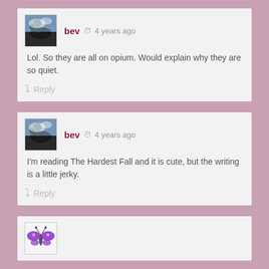bev  4 years ago
Lol. So they are all on opium. Would explain why they are so quiet.
Reply
bev  4 years ago
I'm reading The Hardest Fall and it is cute, but the writing is a little jerky.
Reply
[Figure (photo): Partial view of third comment avatar (purple butterfly illustration)]